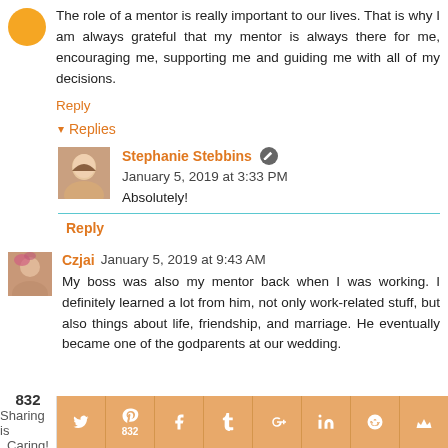The role of a mentor is really important to our lives. That is why I am always grateful that my mentor is always there for me, encouraging me, supporting me and guiding me with all of my decisions.
Reply
▾ Replies
Stephanie Stebbins  January 5, 2019 at 3:33 PM
Absolutely!
Reply
Czjai  January 5, 2019 at 9:43 AM
My boss was also my mentor back when I was working. I definitely learned a lot from him, not only work-related stuff, but also things about life, friendship, and marriage. He eventually became one of the godparents at our wedding.